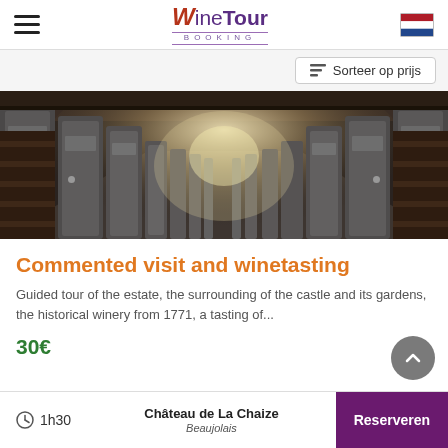Wine Tour Booking — BOOKING
Sorteer op prijs
[Figure (photo): Interior of a large winery barrel hall with rows of stainless steel fermentation tanks receding into the distance, industrial warehouse setting with wooden casks on sides.]
Commented visit and winetasting
Guided tour of the estate, the surrounding of the castle and its gardens, the historical winery from 1771, a tasting of...
30€
1h30
Château de La Chaize
Beaujolais
Reserveren